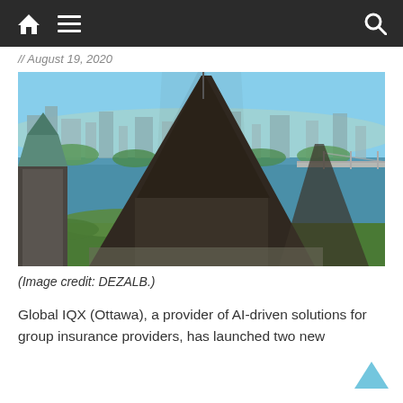Navigation bar with home, menu, and search icons
// August 19, 2020
[Figure (photo): Aerial view of Ottawa, Canada, showing the Parliament Hill library spire in the foreground, the Ottawa River, and the city skyline with Gatineau across the river, with a bridge visible in the background.]
(Image credit: DEZALB.)
Global IQX (Ottawa), a provider of AI-driven solutions for group insurance providers, has launched two new